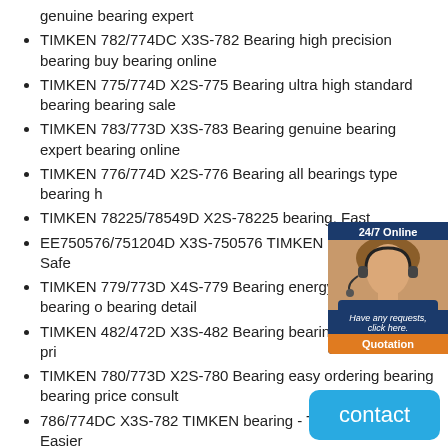genuine bearing expert
TIMKEN 782/774DC X3S-782 Bearing high precision bearing buy bearing online
TIMKEN 775/774D X2S-775 Bearing ultra high standard bearing bearing sale
TIMKEN 783/773D X3S-783 Bearing genuine bearing expert bearing online
TIMKEN 776/774D X2S-776 Bearing all bearings type bearing h...
TIMKEN 78225/78549D X2S-78225 bearing, Fast
EE750576/751204D X3S-750576 TIMKEN bearing - Trade Safe...
TIMKEN 779/773D X4S-779 Bearing energy efficient bearing o... bearing detail
TIMKEN 482/472D X3S-482 Bearing bearing agent bearing pri...
TIMKEN 780/773D X2S-780 Bearing easy ordering bearing bearing price consult
786/774DC X3S-782 TIMKEN bearing - Trade Safer and Easier
TIMKEN 786/773D X1S-786 Bearing original bearing size bearing price size
TIMKEN 48282/48220D X1S-48282 Bearing global bearing brand bearing marketplace
Timken 77362/77675 single row tapered Roller be...
[Figure (other): Chat widget overlay with agent photo, 24/7 Online header, italic tagline, and Quotation button in orange]
[Figure (other): Blue 'contact' button in bottom right corner]